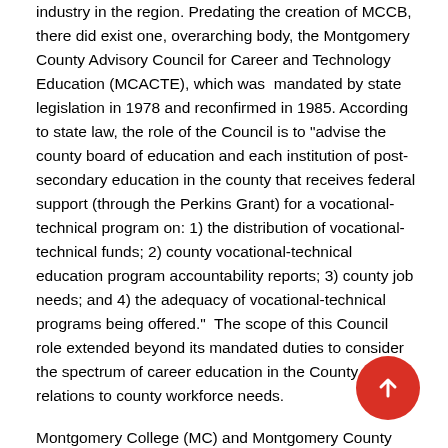industry in the region. Predating the creation of MCCB, there did exist one, overarching body, the Montgomery County Advisory Council for Career and Technology Education (MCACTE), which was mandated by state legislation in 1978 and reconfirmed in 1985. According to state law, the role of the Council is to "advise the county board of education and each institution of post-secondary education in the county that receives federal support (through the Perkins Grant) for a vocational-technical program on: 1) the distribution of vocational-technical funds; 2) county vocational-technical education program accountability reports; 3) county job needs; and 4) the adequacy of vocational-technical programs being offered." The scope of this Council role extended beyond its mandated duties to consider the spectrum of career education in the County and its relations to county workforce needs.
Montgomery College (MC) and Montgomery County Public Schools (MCPS) had representation on the MCACTE. Faculty from MCPS listened to advice from business and industry. Similarly, faculty from MC listened to advice and guidance emanating from business and industry. But, the two educational entities didn't listen to